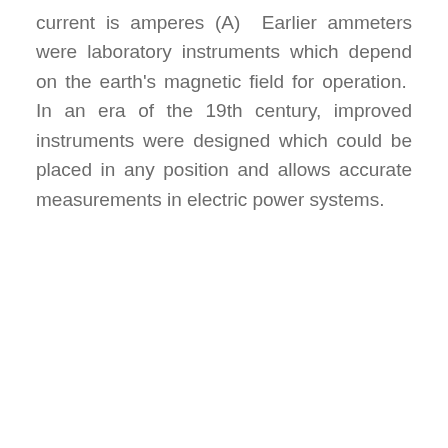current is amperes (A)  Earlier ammeters were laboratory instruments which depend on the earth's magnetic field for operation.  In an era of the 19th century, improved instruments were designed which could be placed in any position and allows accurate measurements in electric power systems.